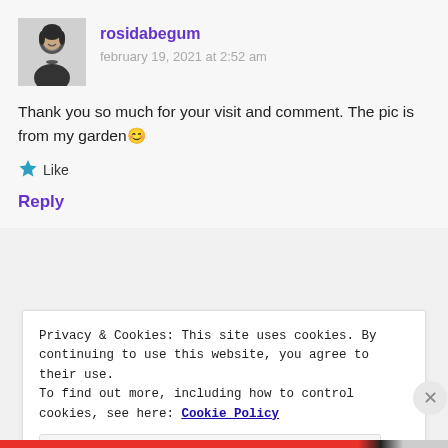rosidabegum
february 19, 2021 at 2:52 am
Thank you so much for your visit and comment. The pic is from my garden😊
Like
Reply
Privacy & Cookies: This site uses cookies. By continuing to use this website, you agree to their use.
To find out more, including how to control cookies, see here: Cookie Policy
Close and accept